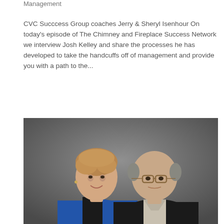Management
CVC Succcess Group coaches Jerry & Sheryl Isenhour On today's episode of The Chimney and Fireplace Success Network we interview Josh Kelley and share the processes he has developed to take the handcuffs off of management and provide you with a path to the...
[Figure (photo): Professional portrait photo of two people — a woman with short blonde hair wearing a blue jacket and black top, and a bald man wearing glasses and a dark jacket with a light shirt, posed together against a gray studio background.]